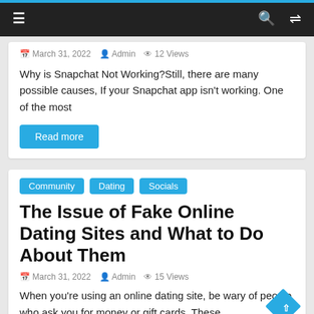≡  🔍  ⇄
March 31, 2022  Admin  12 Views
Why is Snapchat Not Working?Still, there are many possible causes, If your Snapchat app isn't working. One of the most
Read more
Community  Dating  Socials
The Issue of Fake Online Dating Sites and What to Do About Them
March 31, 2022  Admin  15 Views
When you're using an online dating site, be wary of people who ask you for money or gift cards. These